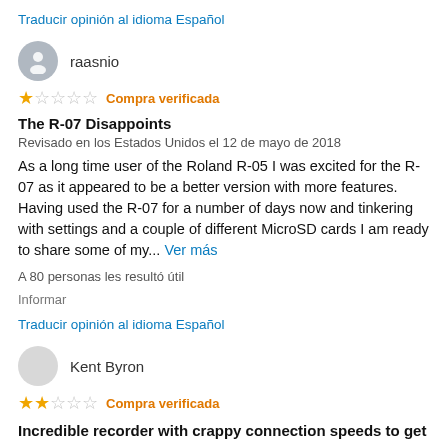Traducir opinión al idioma Español
raasnio
★☆☆☆☆ Compra verificada
The R-07 Disappoints
Revisado en los Estados Unidos el 12 de mayo de 2018
As a long time user of the Roland R-05 I was excited for the R-07 as it appeared to be a better version with more features. Having used the R-07 for a number of days now and tinkering with settings and a couple of different MicroSD cards I am ready to share some of my... Ver más
A 80 personas les resultó útil
Informar
Traducir opinión al idioma Español
Kent Byron
★★☆☆☆ Compra verificada
Incredible recorder with crappy connection speeds to get